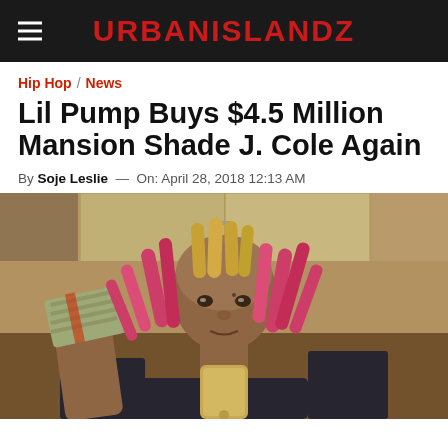URBANISLANDZ
Hip Hop / News
Lil Pump Buys $4.5 Million Mansion Shade J. Cole Again
By Soje Leslie — On: April 28, 2018 12:13 AM
[Figure (photo): Young man with pink and blonde dreadlocks taking a mirror selfie holding a stack of cash in one hand and a gold iPhone in the other, wearing a black jacket, tattoos visible on face and neck, bathroom/closet mirror setting]